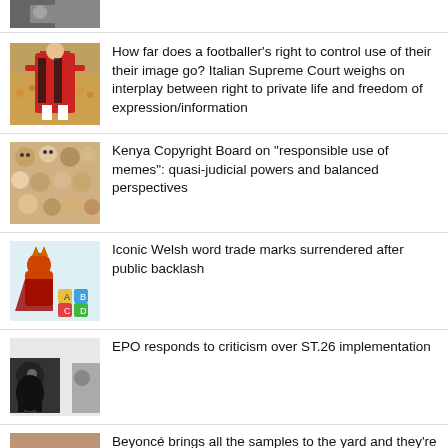[Figure (photo): Partial thumbnail of an image at top of page, cropped]
How far does a footballer's right to control use of their their image go? Italian Supreme Court weighs on interplay between right to private life and freedom of expression/information
Kenya Copyright Board on "responsible use of memes": quasi-judicial powers and balanced perspectives
Iconic Welsh word trade marks surrendered after public backlash
EPO responds to criticism over ST.26 implementation
Beyoncé brings all the samples to the yard and they're like...it's been licenced